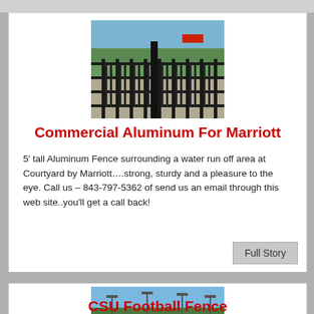[Figure (photo): Black aluminum fence surrounding a water runoff area at Courtyard by Marriott, with trees and parking lot visible in background]
Commercial Aluminum For Marriott
5' tall Aluminum Fence surrounding a water run off area at Courtyard by Marriott….strong, sturdy and a pleasure to the eye. Call us – 843-797-5362 of send us an email through this web site..you'll get a call back!
[Figure (photo): Chain-link or aluminum fence around a football field at CSU, with stadium lights and bleachers visible]
CSU Football Fence